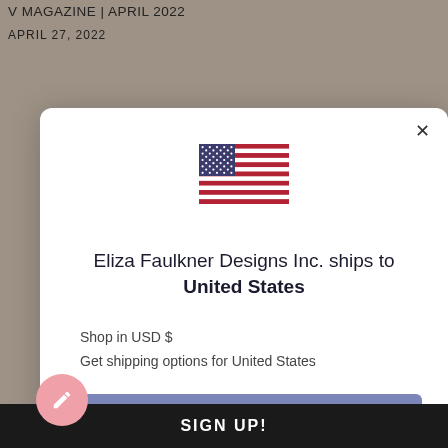V MAGAZINE | APRIL 2022
APRIL 27, 2022
[Figure (screenshot): A modal dialog popup showing a US flag emoji, text 'Eliza Faulkner Designs Inc. ships to United States', 'Shop in USD $', 'Get shipping options for United States', a blue-purple 'Shop now' button, and a 'Change shipping country' link. An X close button appears in the top-right corner of the modal.]
SIGN UP!